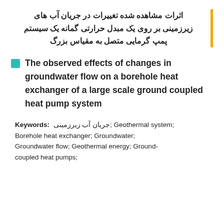اثرات مشاهده شده تغییرات در جریان آب های زیرزمینی بر روی یک مبدل حرارتی گمانه یک سیستم پمپ گرمایی متصل به مقیاس بزرگ
The observed effects of changes in groundwater flow on a borehole heat exchanger of a large scale ground coupled heat pump system
Keywords: جریان آب زیرزمینی; Geothermal system; Borehole heat exchanger; Groundwater; Groundwater flow; Geothermal energy; Ground-coupled heat pumps;